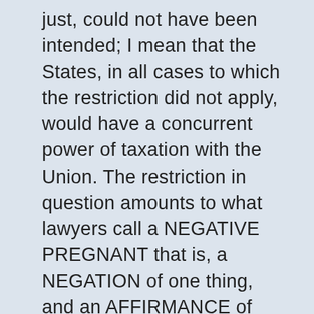just, could not have been intended; I mean that the States, in all cases to which the restriction did not apply, would have a concurrent power of taxation with the Union. The restriction in question amounts to what lawyers call a NEGATIVE PREGNANT that is, a NEGATION of one thing, and an AFFIRMANCE of another; a negation of the authority of the States to impose taxes on imports and exports, and an affirmance of their authority to impose them on all other articles. It would be mere sophistry to argue that it was meant to exclude them ABSOLUTELY from the imposition of taxes of the former kind, and to leave them at